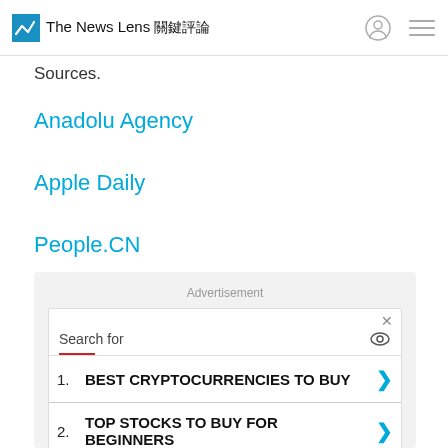The News Lens 關鍵評論
Sources.
Anadolu Agency
Apple Daily
People.CN
[Figure (screenshot): Advertisement block with search bar and two cryptocurrency/stock results: 1. BEST CRYPTOCURRENCIES TO BUY, 2. TOP STOCKS TO BUY FOR BEGINNERS. Business Focus ad label at bottom.]